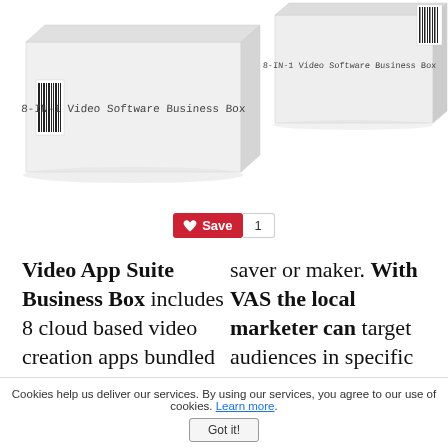[Figure (photo): Two white product boxes labeled '8-IN-1 Video Software Business Box' with barcodes, shown at an angle. Left box is larger and more prominent; right box is partially behind it.]
[Figure (other): Pinterest Save button (red with Pinterest P logo) showing count of 1]
Video App Suite Business Box includes 8 cloud based video creation apps bundled a commercial license, reseller and white label
saver or maker. With VAS the local marketer can target audiences in specific niches to connect with. All of these apps include
Cookies help us deliver our services. By using our services, you agree to our use of cookies. Learn more.
Got it!